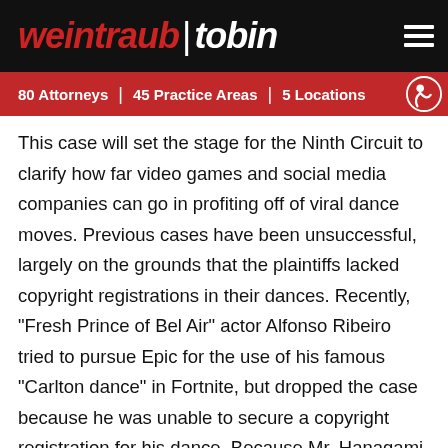weintraub | tobin — 80 Attorneys | 45 Practice Areas | 5 Locations
This case will set the stage for the Ninth Circuit to clarify how far video games and social media companies can go in profiting off of viral dance moves. Previous cases have been unsuccessful, largely on the grounds that the plaintiffs lacked copyright registrations in their dances. Recently, "Fresh Prince of Bel Air" actor Alfonso Ribeiro tried to pursue Epic for the use of his famous "Carlton dance" in Fortnite, but dropped the case because he was unable to secure a copyright registration for his dance. Because Mr. Hanagami has a registration in hand, he may be able to succeed where others have failed.
A win by Mr. Hanagami could set the stage for more creators to register their works and seek compensation for infringement,